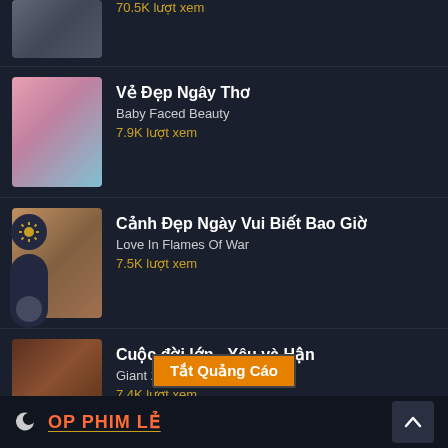70.5K lượt xem
Vẻ Đẹp Ngây Thơ
Baby Faced Beauty
7.9K lượt xem
Cảnh Đẹp Ngày Vui Biết Bao Giờ
Love In Flames Of War
7.5K lượt xem
Cuộc đời lớn - Yêu và Hận
Giant 2010
7.4K lượt xem
Tắt Quảng Cáo
TOP PHIM LẺ